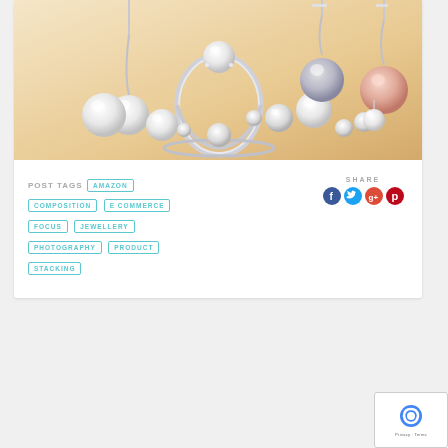[Figure (photo): Product photography of pearl jewellery — rings, drop earrings, and stud earrings with white and pink pearls on a warm golden/cream gradient background]
POST TAGS  AMAZON  COMPOSITION  E COMMERCE  FOCUS  JEWELLERY  PHOTOGRAPHY  PRODUCT  STACKING
SHARE